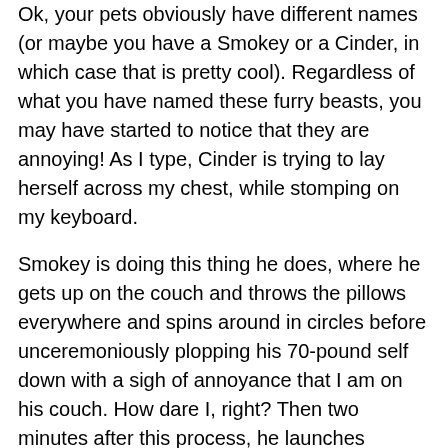Ok, your pets obviously have different names (or maybe you have a Smokey or a Cinder, in which case that is pretty cool). Regardless of what you have named these furry beasts, you may have started to notice that they are annoying! As I type, Cinder is trying to lay herself across my chest, while stomping on my keyboard.
Smokey is doing this thing he does, where he gets up on the couch and throws the pillows everywhere and spins around in circles before unceremoniously plopping his 70-pound self down with a sigh of annoyance that I am on his couch. How dare I, right? Then two minutes after this process, he launches himself off the couch to bark like a junkyard guard dog out the window. Rinse and repeat.
Here is the funny thing about pets, several studies have proven that working with your pets offers several benefits...